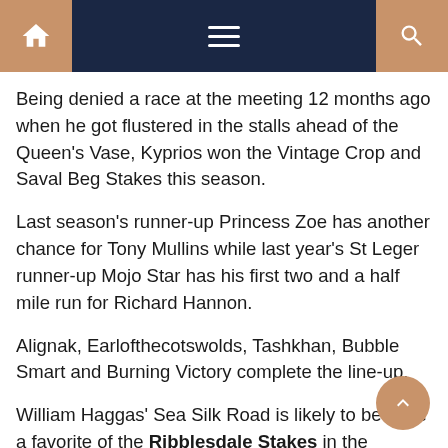Navigation bar with home, menu, and search icons
Being denied a race at the meeting 12 months ago when he got flustered in the stalls ahead of the Queen's Vase, Kyprios won the Vintage Crop and Saval Beg Stakes this season.
Last season's runner-up Princess Zoe has another chance for Tony Mullins while last year's St Leger runner-up Mojo Star has his first two and a half mile run for Richard Hannon.
Alignak, Earlofthecotswolds, Tashkhan, Bubble Smart and Burning Victory complete the line-up.
William Haggas' Sea Silk Road is likely to become a favorite of the Ribblesdale Stakes in the absence of Oaks runner-up Emily Upjohn.
She started late to win a Listed race over 1,400m at Goodwood last time out and looks to be up to it on the trip